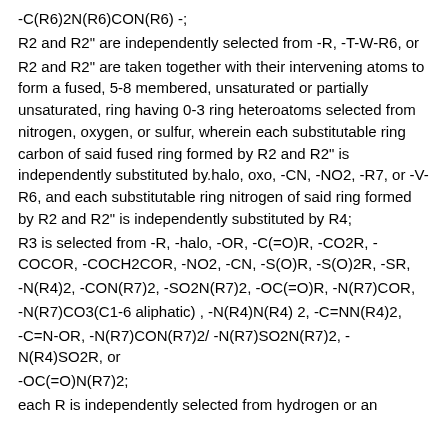-C(R6)2N(R6)CON(R6) -;
R2 and R2" are independently selected from -R, -T-W-R6, or
R2 and R2" are taken together with their intervening atoms to form a fused, 5-8 membered, unsaturated or partially unsaturated, ring having 0-3 ring heteroatoms selected from nitrogen, oxygen, or sulfur, wherein each substitutable ring carbon of said fused ring formed by R2 and R2" is independently substituted by.halo, oxo, -CN, -NO2, -R7, or -V-R6, and each substitutable ring nitrogen of said ring formed by R2 and R2" is independently substituted by R4;
R3 is selected from -R, -halo, -OR, -C(=O)R, -CO2R, -COCOR, -COCH2COR, -NO2, -CN, -S(O)R, -S(O)2R, -SR,
-N(R4)2, -CON(R7)2, -SO2N(R7)2, -OC(=O)R, -N(R7)COR,
-N(R7)CO3(C1-6 aliphatic) , -N(R4)N(R4) 2, -C=NN(R4)2,
-C=N-OR, -N(R7)CON(R7)2/ -N(R7)SO2N(R7)2, -N(R4)SO2R, or
-OC(=O)N(R7)2;
each R is independently selected from hydrogen or an